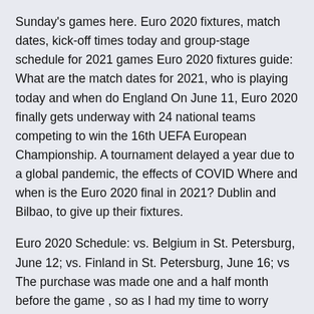Sunday's games here. Euro 2020 fixtures, match dates, kick-off times today and group-stage schedule for 2021 games Euro 2020 fixtures guide: What are the match dates for 2021, who is playing today and when do England On June 11, Euro 2020 finally gets underway with 24 national teams competing to win the 16th UEFA European Championship. A tournament delayed a year due to a global pandemic, the effects of COVID Where and when is the Euro 2020 final in 2021? Dublin and Bilbao, to give up their fixtures.
Euro 2020 Schedule: vs. Belgium in St. Petersburg, June 12; vs. Finland in St. Petersburg, June 16; vs The purchase was made one and a half month before the game , so as I had my time to worry about delivery and reality of those tickets . Initially  St. Petersburg is well-